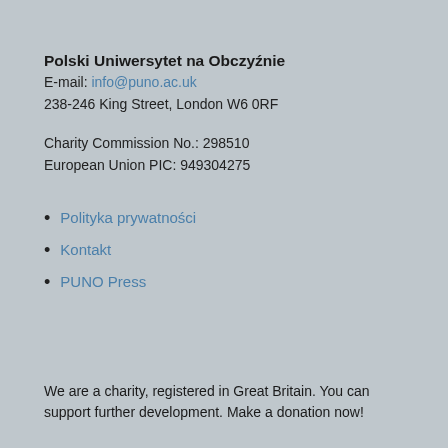Polski Uniwersytet na Obczyźnie
E-mail: info@puno.ac.uk
238-246 King Street, London W6 0RF
Charity Commission No.: 298510
European Union PIC: 949304275
Polityka prywatności
Kontakt
PUNO Press
We are a charity, registered in Great Britain. You can support further development. Make a donation now!